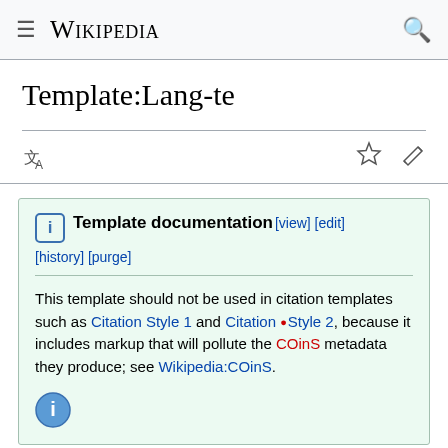≡  WIKIPEDIA  🔍
Template:Lang-te
{{ℹ}} Template documentation [view] [edit] [history] [purge]
This template should not be used in citation templates such as Citation Style 1 and Citation Style 2, because it includes markup that will pollute the COinS metadata they produce; see Wikipedia:COinS.